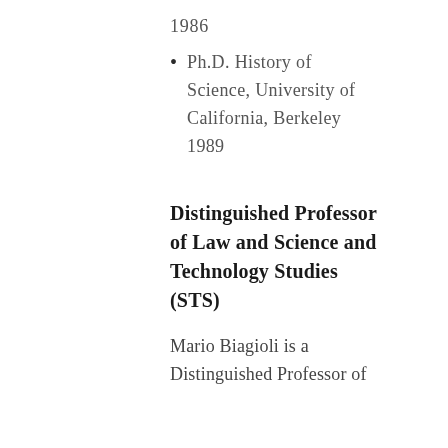1986
Ph.D. History of Science, University of California, Berkeley 1989
Distinguished Professor of Law and Science and Technology Studies (STS)
Mario Biagioli is a Distinguished Professor of